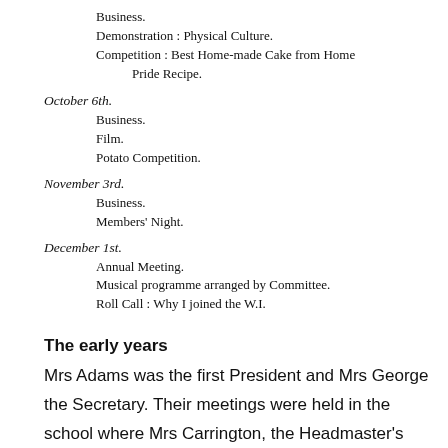Business.
Demonstration : Physical Culture.
Competition : Best Home-made Cake from Home Pride Recipe.
October 6th.
Business.
Film.
Potato Competition.
November 3rd.
Business.
Members' Night.
December 1st.
Annual Meeting.
Musical programme arranged by Committee.
Roll Call : Why I joined the W.I.
The early years
Mrs Adams was the first President and Mrs George the Secretary. Their meetings were held in the school where Mrs Carrington, the Headmaster's Wife, supplied the hot water to